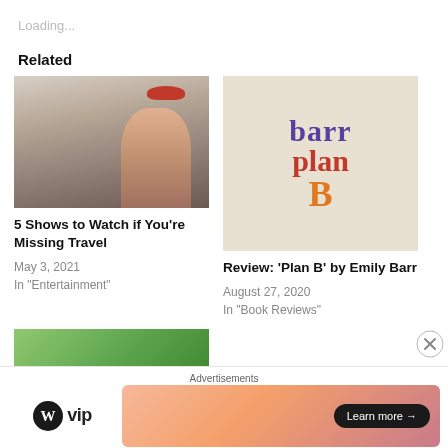Loading...
Related
[Figure (photo): Photo of a woman with a red beret at an outdoor cafe]
5 Shows to Watch if You're Missing Travel
May 3, 2021
In "Entertainment"
[Figure (photo): Book cover for 'Plan B' by Emily Barr with colorful text]
Review: ‘Plan B’ by Emily Barr
August 27, 2020
In "Book Reviews"
[Figure (photo): Partially visible image of a person outdoors with green background]
Advertisements
[Figure (logo): WordPress VIP logo]
[Figure (illustration): Advertisement banner with gradient background and 'Learn more' button]